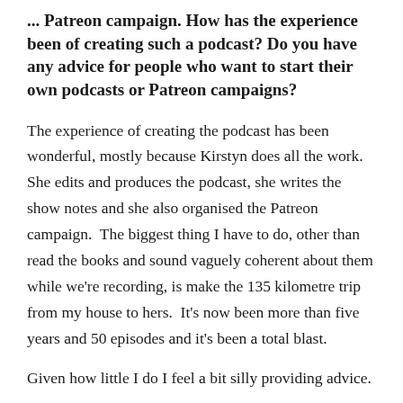... Patreon campaign. How has the experience been of creating such a podcast? Do you have any advice for people who want to start their own podcasts or Patreon campaigns?
The experience of creating the podcast has been wonderful, mostly because Kirstyn does all the work. She edits and produces the podcast, she writes the show notes and she also organised the Patreon campaign. The biggest thing I have to do, other than read the books and sound vaguely coherent about them while we're recording, is make the 135 kilometre trip from my house to hers. It's now been more than five years and 50 episodes and it's been a total blast.
Given how little I do I feel a bit silly providing advice.